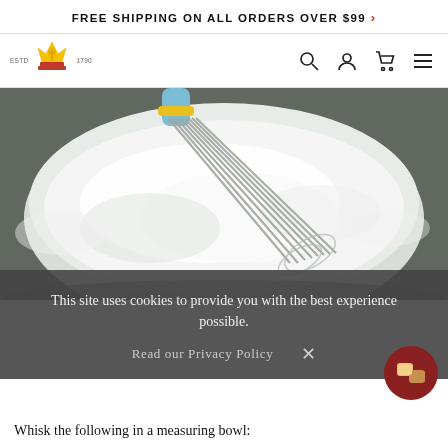FREE SHIPPING ON ALL ORDERS OVER $99 >
[Figure (logo): King Arthur Baking Company logo with crown/wheat crest, ESTD 1790]
[Figure (photo): Close-up photo of a whisk mixing white flour in a metal bowl, from overhead, with a blue/yellow handle visible at top]
This site uses cookies to provide you with the best experience possible.
Read our Privacy Policy   ×
Whisk the following in a measuring bowl: